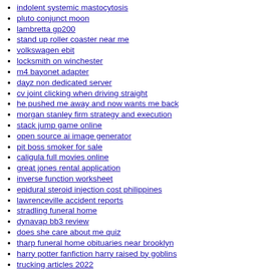indolent systemic mastocytosis
pluto conjunct moon
lambretta gp200
stand up roller coaster near me
volkswagen ebit
locksmith on winchester
m4 bayonet adapter
dayz non dedicated server
cv joint clicking when driving straight
he pushed me away and now wants me back
morgan stanley firm strategy and execution
stack jump game online
open source ai image generator
pit boss smoker for sale
caligula full movies online
great jones rental application
inverse function worksheet
epidural steroid injection cost philippines
lawrenceville accident reports
stradling funeral home
dynavap bb3 review
does she care about me quiz
tharp funeral home obituaries near brooklyn
harry potter fanfiction harry raised by goblins
trucking articles 2022